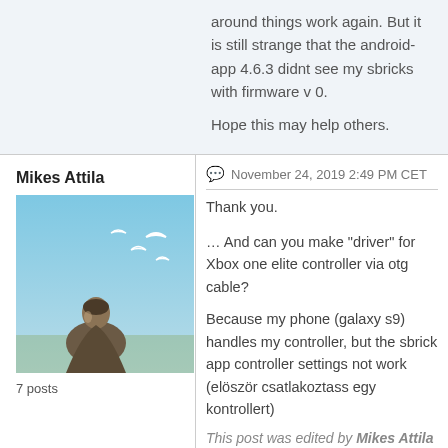around things work again. But it is still strange that the android-app 4.6.3 didnt see my sbricks with firmware v 0.

Hope this may help others.
Mikes Attila
[Figure (photo): Profile photo of a person looking upward toward birds in a sky scene, painterly illustration style]
7 posts
November 24, 2019 2:49 PM CET
Thank you.

… And can you make "driver" for Xbox one elite controller via otg cable?

Because my phone (galaxy s9) handles my controller, but the sbrick app controller settings not work (elöször csatlakoztass egy kontrollert)
This post was edited by Mikes Attila at November 24, 2019 9:53